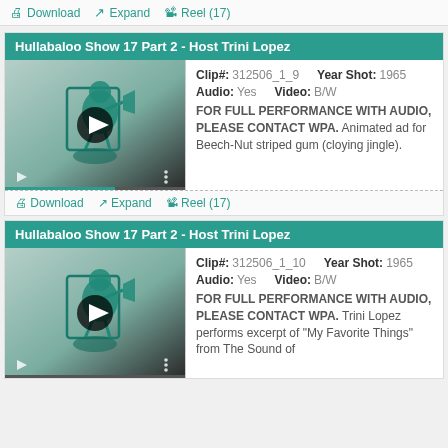Download  Expand  Reel (17)
Hullabaloo Show 17 Part 2 - Host Trini Lopez
[Figure (screenshot): Video thumbnail with animated illustration of figure with megaphone, play button overlay, progress bar]
Clip#: 312506_1_9  Year Shot: 1965  Audio: Yes  Video: B/W  FOR FULL PERFORMANCE WITH AUDIO, PLEASE CONTACT WPA. Animated ad for Beech-Nut striped gum (cloying jingle).
Download  Expand  Reel (17)
Hullabaloo Show 17 Part 2 - Host Trini Lopez
[Figure (screenshot): Video thumbnail with animated illustration of figure with megaphone, play button overlay]
Clip#: 312506_1_10  Year Shot: 1965  Audio: Yes  Video: B/W  FOR FULL PERFORMANCE WITH AUDIO, PLEASE CONTACT WPA. Trini Lopez performs excerpt of "My Favorite Things" from The Sound of